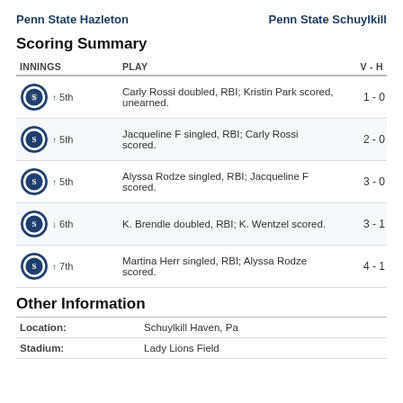Penn State Hazleton   Penn State Schuylkill
Scoring Summary
| INNINGS | PLAY | V - H |
| --- | --- | --- |
| ↑ 5th | Carly Rossi doubled, RBI; Kristin Park scored, unearned. | 1 - 0 |
| ↑ 5th | Jacqueline F singled, RBI; Carly Rossi scored. | 2 - 0 |
| ↑ 5th | Alyssa Rodze singled, RBI; Jacqueline F scored. | 3 - 0 |
| ↓ 6th | K. Brendle doubled, RBI; K. Wentzel scored. | 3 - 1 |
| ↑ 7th | Martina Herr singled, RBI; Alyssa Rodze scored. | 4 - 1 |
Other Information
|  |  |
| --- | --- |
| Location: | Schuylkill Haven, Pa |
| Stadium: | Lady Lions Field |